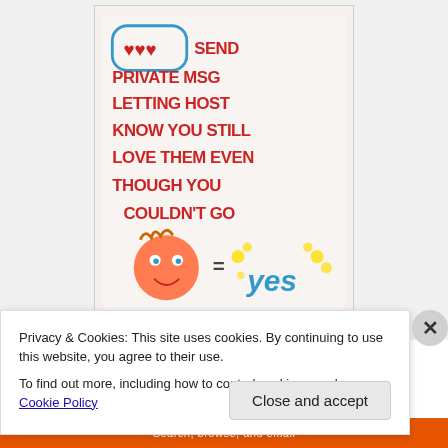[Figure (photo): Handwritten note on white paper in red marker text with blue speech bubble outline and drawn characters. Text reads: (hearts in speech bubble) SEND PRIVATE MSG LETTING HOST KNOW YOU STILL LOVE THEM EVEN THOUGH YOU COULDN'T GO = yes (with cartoon face and yellow/blue decorations)]
Privacy & Cookies: This site uses cookies. By continuing to use this website, you agree to their use.
To find out more, including how to control cookies, see here: Cookie Policy
Close and accept
Search, browse, and email